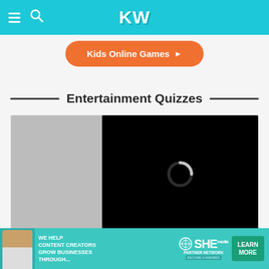KW - Kids Online Games
Kids Online Games ▶
Entertainment Quizzes
[Figure (screenshot): Video player showing a loading spinner with time 13:52, mute button, CC button, and expand button. Left side shows a gray thumbnail placeholder area.]
[Figure (infographic): Advertisement banner: WE HELP CONTENT CREATORS GROW BUSINESSES THROUGH... with SHE PARTNER NETWORK logo and LEARN MORE button]